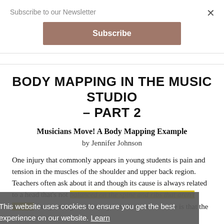Subscribe to our Newsletter
Subscribe (button)
BODY MAPPING IN THE MUSIC STUDIO – PART 2
Musicians Move! A Body Mapping Example
by Jennifer Johnson
One injury that commonly appears in young students is pain and tension in the muscles of the shoulder and upper back region. Teachers often ask about it and though its cause is always related to a head that's not balanced on the spine and ribs that aren't moving freely enough with every breath, the root cause is that the
This website uses cookies to ensure you get the best experience on our website. Learn More
Got it!